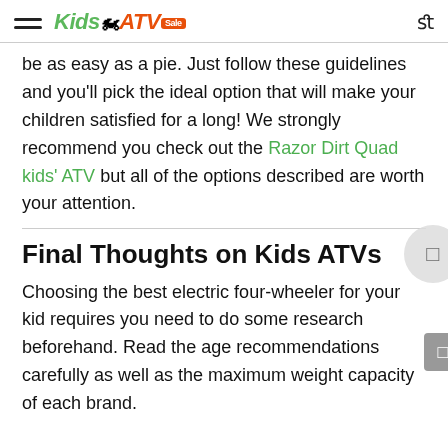Kids ATV Sale
be as easy as a pie. Just follow these guidelines and you'll pick the ideal option that will make your children satisfied for a long! We strongly recommend you check out the Razor Dirt Quad kids' ATV but all of the options described are worth your attention.
Final Thoughts on Kids ATVs
Choosing the best electric four-wheeler for your kid requires you need to do some research beforehand. Read the age recommendations carefully as well as the maximum weight capacity of each brand.